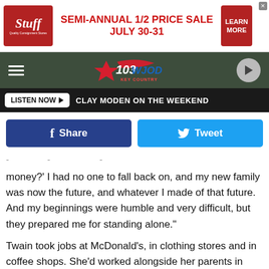[Figure (screenshot): Advertisement banner for 'Stuff' Quality Consignment Store — Semi-Annual 1/2 Price Sale July 30-31, with Learn More button]
[Figure (logo): 103 WJOD Key Country radio station logo and navigation bar with hamburger menu and play button]
LISTEN NOW ▶  CLAY MODEN ON THE WEEKEND
[Figure (screenshot): Facebook Share button and Twitter Tweet button]
money?' I had no one to fall back on, and my new family was now the future, and whatever I made of that future. And my beginnings were humble and very difficult, but they prepared me for standing alone."
Twain took jobs at McDonald's, in clothing stores and in coffee shops. She'd worked alongside her parents in their lumber business as a child, so she wasn't afraid to get her hands dirty, as long as it would take her where she wanted to